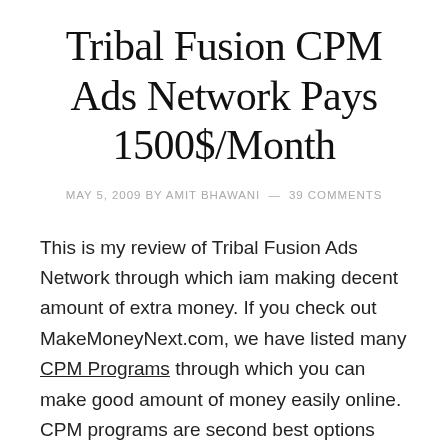Tribal Fusion CPM Ads Network Pays 1500$/Month
MAY 5, 2009 BY AMIT BHAWANI — 39 COMMENTS
This is my review of Tribal Fusion Ads Network through which iam making decent amount of extra money. If you check out MakeMoneyNext.com, we have listed many CPM Programs through which you can make good amount of money easily online. CPM programs are second best options after pay per click programs because you dont need to get any clicks, sales or signup's from your visitors but you need heavy visitors on your